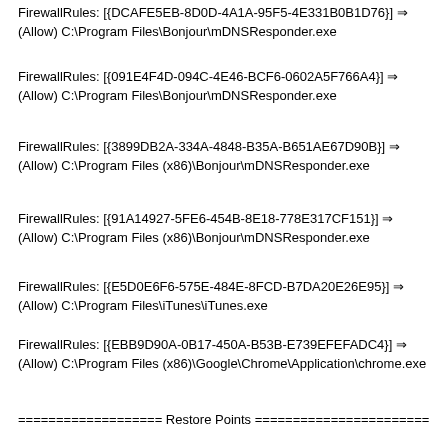FirewallRules: [{DCAFE5EB-8D0D-4A1A-95F5-4E331B0B1D76}] ⇒ (Allow) C:\Program Files\Bonjour\mDNSResponder.exe
FirewallRules: [{091E4F4D-094C-4E46-BCF6-0602A5F766A4}] ⇒ (Allow) C:\Program Files\Bonjour\mDNSResponder.exe
FirewallRules: [{3899DB2A-334A-4848-B35A-B651AE67D90B}] ⇒ (Allow) C:\Program Files (x86)\Bonjour\mDNSResponder.exe
FirewallRules: [{91A14927-5FE6-454B-8E18-778E317CF151}] ⇒ (Allow) C:\Program Files (x86)\Bonjour\mDNSResponder.exe
FirewallRules: [{E5D0E6F6-575E-484E-8FCD-B7DA20E26E95}] ⇒ (Allow) C:\Program Files\iTunes\iTunes.exe
FirewallRules: [{EBB9D90A-0B17-450A-B53B-E739EFEFADC4}] ⇒ (Allow) C:\Program Files (x86)\Google\Chrome\Application\chrome.exe
=================== Restore Points =======================